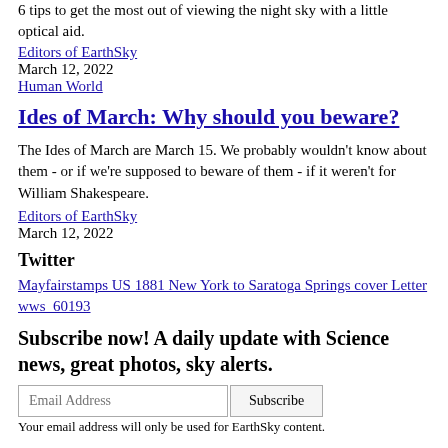6 tips to get the most out of viewing the night sky with a little optical aid.
Editors of EarthSky
March 12, 2022
Human World
Ides of March: Why should you beware?
The Ides of March are March 15. We probably wouldn't know about them - or if we're supposed to beware of them - if it weren't for William Shakespeare.
Editors of EarthSky
March 12, 2022
Twitter
Mayfairstamps US 1881 New York to Saratoga Springs cover Letter wws_60193
Subscribe now! A daily update with Science news, great photos, sky alerts.
Email Address
Your email address will only be used for EarthSky content.